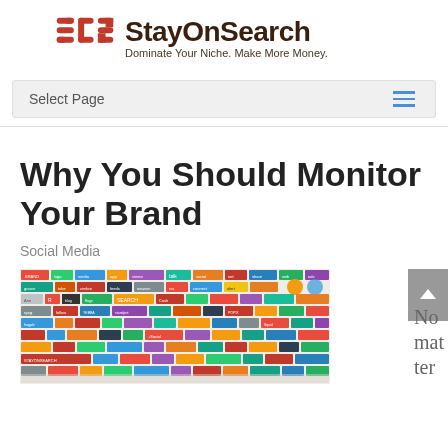[Figure (logo): StayOnSearch logo — red 'SCS' stylized letters with bold dark text 'StayOnSearch' and tagline 'Dominate Your Niche. Make More Money.']
Select Page
Why You Should Monitor Your Brand
Social Media
[Figure (photo): Collage of many social media and web service brand logos packed together in a grid]
No mat ter